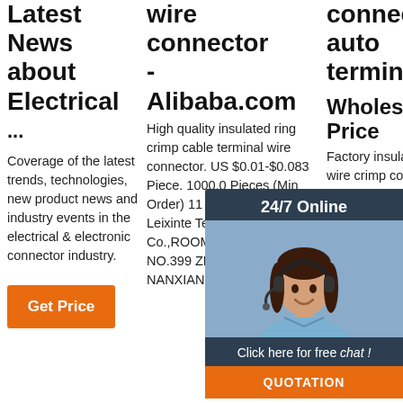Latest News about Electrical ...
Coverage of the latest trends, technologies, new product news and industry events in the electrical & electronic connector industry.
Get Price
wire connector - Alibaba.com
High quality insulated ring crimp cable terminal wire connector. US $0.01-$0.083 Piece. 1000.0 Pieces (Min Order) 11 YRS Zhejiang Leixinte Technology Co.,ROOM 1101 BUILDING B NO.399 ZHONGREN ROAD. NANXIANG JIADING
connector auto terminals at Wholesale Price
Factory insulated ring auto wire crimp connector Blue Y Ring insulated Terminal $0.005-$0.015 Piece. 1000.0 Pieces ... Hampool Better Quality Rohs Different Sizes Auto Insulated
[Figure (infographic): Customer service chat widget showing a woman with headset, '24/7 Online' header, 'Click here for free chat!' text, and QUOTATION button]
[Figure (logo): TOP badge with orange dots and arrow pointing up]